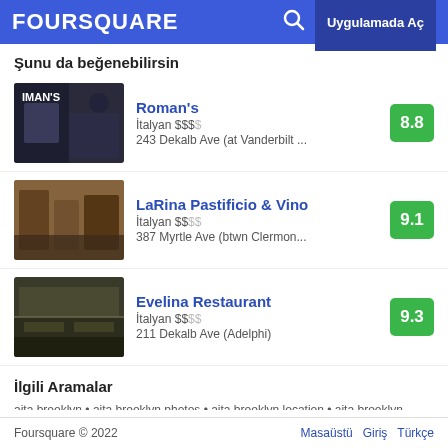FOURSQUARE  Uygulamada Aç
Şunu da beğenebilirsin
Roman's | İtalyan $$$ | 243 Dekalb Ave (at Vanderbilt ... | Score: 8.8
LaRina Pastificio & Vino | İtalyan $$ | 387 Myrtle Ave (btwn Clermon... | Score: 9.1
Evelina Restaurant | İtalyan $$ | 211 Dekalb Ave (Adelphi) | Score: 9.3
İlgili Aramalar
aita brooklyn • aita brooklyn photos • aita brooklyn location • aita brooklyn address • aita brooklyn • aita brooklyn • aita clinton hill brooklyn
Foursquare © 2022    Masaüstü  Giriş  Türkçe